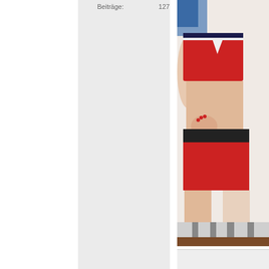Beiträge:    127.843
[Figure (photo): Person wearing red cheerleader-style top and red shorts with black waistband, photographed from torso to mid-thigh against a light background with zebra-print furniture visible at bottom.]